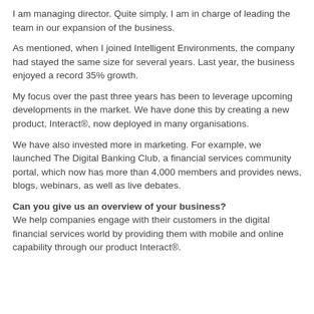I am managing director. Quite simply, I am in charge of leading the team in our expansion of the business.
As mentioned, when I joined Intelligent Environments, the company had stayed the same size for several years. Last year, the business enjoyed a record 35% growth.
My focus over the past three years has been to leverage upcoming developments in the market. We have done this by creating a new product, Interact®, now deployed in many organisations.
We have also invested more in marketing. For example, we launched The Digital Banking Club, a financial services community portal, which now has more than 4,000 members and provides news, blogs, webinars, as well as live debates.
Can you give us an overview of your business? We help companies engage with their customers in the digital financial services world by providing them with mobile and online capability through our product Interact®.